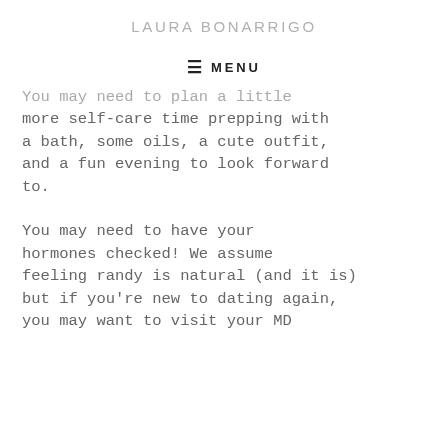LAURA BONARRIGO
≡ MENU
You may need to plan a little more self-care time prepping with a bath, some oils, a cute outfit, and a fun evening to look forward to.
You may need to have your hormones checked! We assume feeling randy is natural (and it is) but if you're new to dating again, you may want to visit your MD